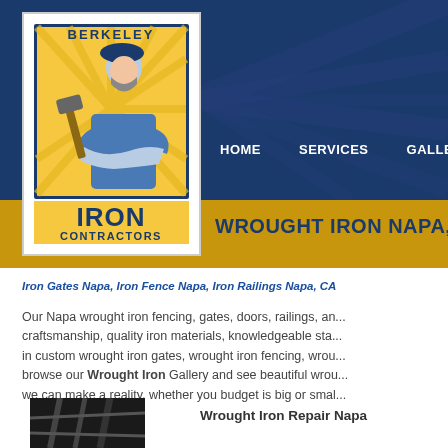[Figure (logo): Berkeley Iron Contractors logo — illustration of a worker holding tools with text BERKELEY, IRON CONTRACTORS in blue and gold]
HOME   SERVICES   GALLERY
WROUGHT IRON NAPA, N...
Iron Gates Napa, Iron Fence Napa, Iron Railings Napa, CA
Our Napa wrought iron fencing, gates, doors, railings, an... craftsmanship, quality iron materials, knowledgeable sta... in custom wrought iron gates, wrought iron fencing, wrou... browse our Wrought Iron Gallery and see beautiful wrou... we can make a reality, whether you budget is big or smal...
[Figure (photo): Close-up photo of wrought iron metalwork, dark background]
Wrought Iron Repair Napa